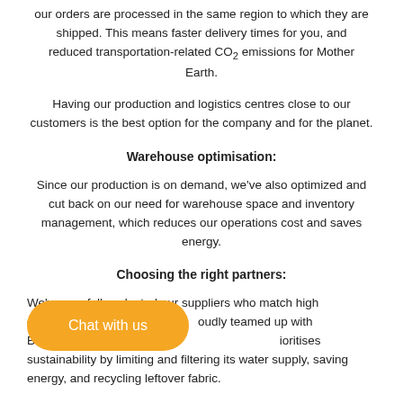our orders are processed in the same region to which they are shipped. This means faster delivery times for you, and reduced transportation-related CO₂ emissions for Mother Earth.
Having our production and logistics centres close to our customers is the best option for the company and for the planet.
Warehouse optimisation:
Since our production is on demand, we've also optimized and cut back on our need for warehouse space and inventory management, which reduces our operations cost and saves energy.
Choosing the right partners:
We've carefully selected our suppliers who match high environmental standards and proudly teamed up with Bella+Canvas, our main T-shirt supplier that prioritises sustainability by limiting and filtering its water supply, saving energy, and recycling leftover fabric.